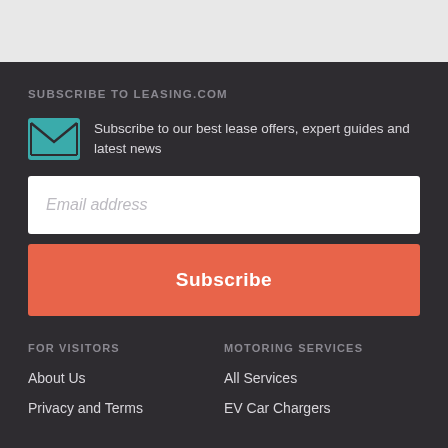SUBSCRIBE TO LEASING.COM
Subscribe to our best lease offers, expert guides and latest news
Email address
Subscribe
FOR VISITORS
MOTORING SERVICES
About Us
All Services
Privacy and Terms
EV Car Chargers